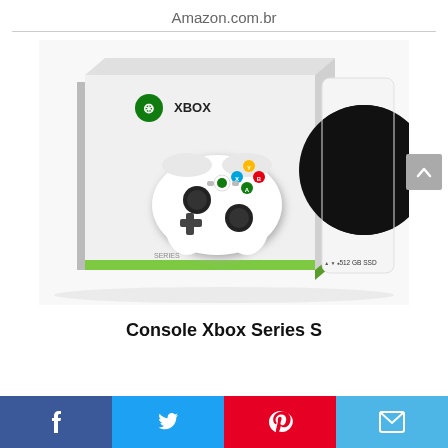Amazon.com.br
[Figure (photo): Xbox Series S console product photo showing the white console box with controller and the white console unit with black circular ventilation grille and '512 GB SSD' label]
Console Xbox Series S
[Figure (infographic): Social media sharing bar with Facebook, Twitter, Pinterest, and email buttons]